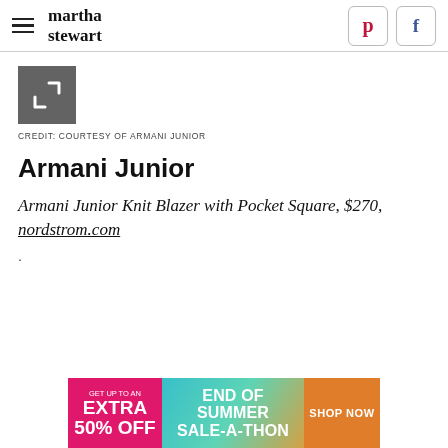martha stewart
[Figure (screenshot): Expand/fullscreen icon box — grey square with corner bracket arrows in white]
CREDIT: COURTESY OF ARMANI JUNIOR
Armani Junior
Armani Junior Knit Blazer with Pocket Square, $270, nordstrom.com
.
[Figure (infographic): Advertisement banner: GET UP TO AN EXTRA 50% OFF | END OF SUMMER SALE-A-THON | SHOP NOW]